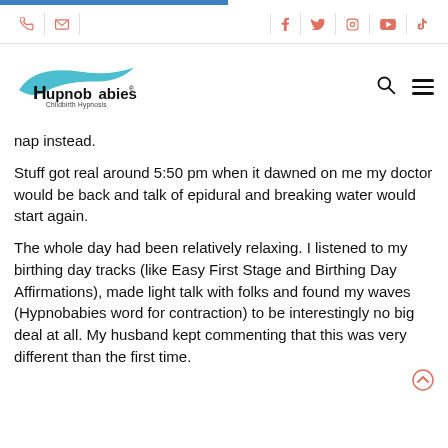[Figure (logo): Hypnobabies Childbirth Hypnosis logo with teal swoosh]
nap instead.
Stuff got real around 5:50 pm when it dawned on me my doctor would be back and talk of epidural and breaking water would start again.
The whole day had been relatively relaxing. I listened to my birthing day tracks (like Easy First Stage and Birthing Day Affirmations), made light talk with folks and found my waves (Hypnobabies word for contraction) to be interestingly no big deal at all. My husband kept commenting that this was very different than the first time.